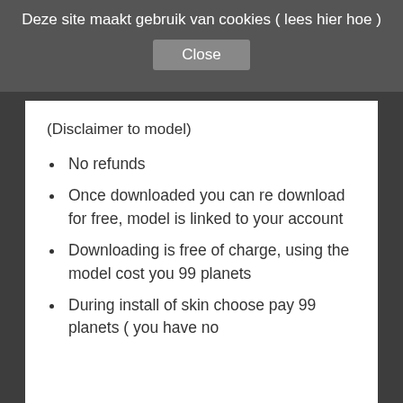Deze site maakt gebruik van cookies ( lees hier hoe )
Close
(Disclaimer to model)
No refunds
Once downloaded you can re download for free, model is linked to your account
Downloading is free of charge, using the model cost you 99 planets
During install of skin choose pay 99 planets ( you have no ...